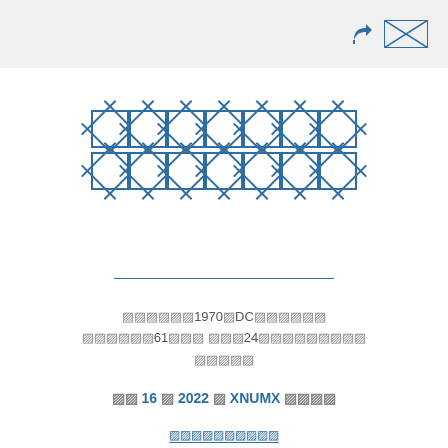[header bar with share icon and redacted label]
[REDACTED TITLE LINE 1]
[REDACTED TITLE LINE 2]
[REDACTED body text including: 1970, DC, 61, 24]
16 / 2022 / XNUMX [redacted]
[REDACTED link/button text]